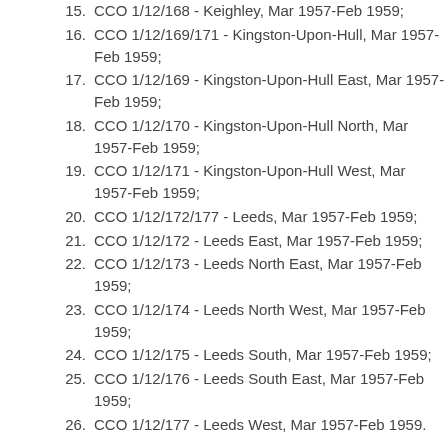15. CCO 1/12/168 - Keighley, Mar 1957-Feb 1959;
16. CCO 1/12/169/171 - Kingston-Upon-Hull, Mar 1957-Feb 1959;
17. CCO 1/12/169 - Kingston-Upon-Hull East, Mar 1957-Feb 1959;
18. CCO 1/12/170 - Kingston-Upon-Hull North, Mar 1957-Feb 1959;
19. CCO 1/12/171 - Kingston-Upon-Hull West, Mar 1957-Feb 1959;
20. CCO 1/12/172/177 - Leeds, Mar 1957-Feb 1959;
21. CCO 1/12/172 - Leeds East, Mar 1957-Feb 1959;
22. CCO 1/12/173 - Leeds North East, Mar 1957-Feb 1959;
23. CCO 1/12/174 - Leeds North West, Mar 1957-Feb 1959;
24. CCO 1/12/175 - Leeds South, Mar 1957-Feb 1959;
25. CCO 1/12/176 - Leeds South East, Mar 1957-Feb 1959;
26. CCO 1/12/177 - Leeds West, Mar 1957-Feb 1959.
Dates
Mar 1957-Feb 1959